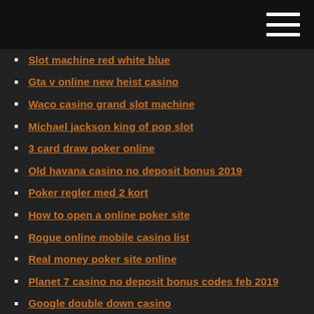Slot machine red white blue
Gta v online new heist casino
Waco casino grand slot machine
Michael jackson king of pop slot
3 card draw poker online
Old havana casino no deposit bonus 2019
Poker regler med 2 kort
How to open a online poker site
Rogue online mobile casino list
Real money poker site online
Planet 7 casino no deposit bonus codes feb 2019
Google double down casino
Black and tan patterdale cross jack russell
Which form of gambling has the best odds